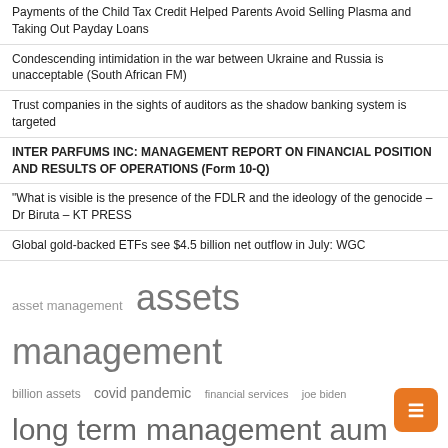Payments of the Child Tax Credit Helped Parents Avoid Selling Plasma and Taking Out Payday Loans
Condescending intimidation in the war between Ukraine and Russia is unacceptable (South African FM)
Trust companies in the sights of auditors as the shadow banking system is targeted
INTER PARFUMS INC: MANAGEMENT REPORT ON FINANCIAL POSITION AND RESULTS OF OPERATIONS (Form 10-Q)
"What is visible is the presence of the FDLR and the ideology of the genocide – Dr Biruta – KT PRESS
Global gold-backed ETFs see $4.5 billion net outflow in July: WGC
[Figure (infographic): Tag cloud showing finance-related keywords in varying sizes: 'assets management' (largest), 'long term', 'management aum', 'united states', 'asset management', 'billion assets', 'covid pandemic', 'financial services', 'joe biden', 'managing director', 'mutual fund', 'real estate', 'short term']